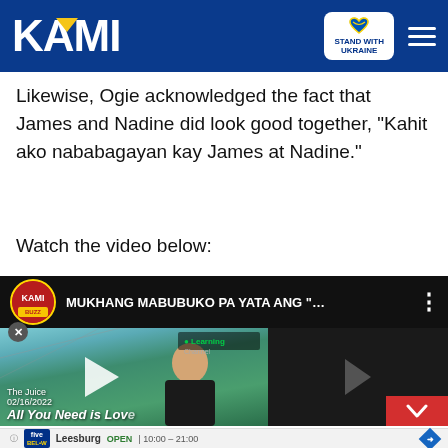KAMI — STAND WITH UKRAINE
Likewise, Ogie acknowledged the fact that James and Nadine did look good together, "Kahit ako nababagayan kay James at Nadine."
Watch the video below:
[Figure (screenshot): Embedded YouTube video player showing 'MUKHANG MABUBUKO PA YATA ANG "...' with a thumbnail of a man in a black shirt, overlaid with play button. Channel and date shown: The Juice 02/16/2022, All You Need is Love]
[Figure (infographic): Five Below store advertisement banner showing Leesburg location, OPEN 10:00-21:00]